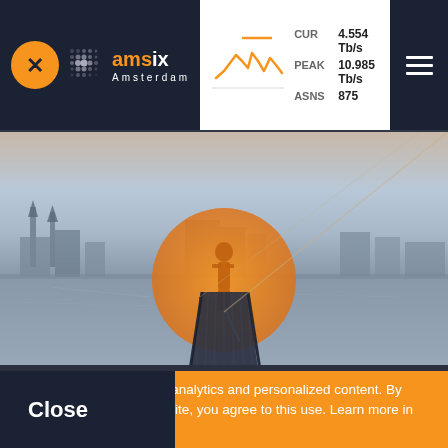[Figure (logo): AMS-IX Amsterdam logo with orange icon on dark navy background header]
[Figure (continuous-plot): Small orange line chart showing traffic trends]
CUR 4.554 Tb/s
PEAK 10.985 Tb/s
ASNS 875
[Figure (photo): Amsterdam waterfront cityscape at dusk with a person standing on a pier, orange circle overlay, dark navy pier in foreground]
This site uses cookies for analytics and personalized content. By continuing to browse this site, you agree to this use. Learn more in our Cookie Policy
Close